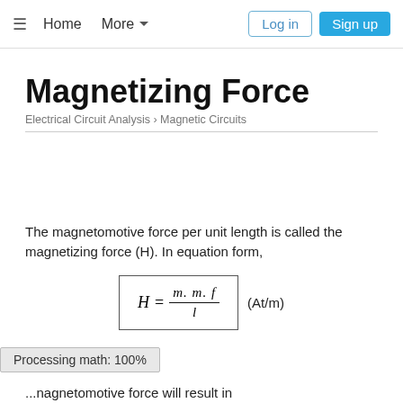≡   Home   More ▼   Log in   Sign up
Magnetizing Force
Electrical Circuit Analysis › Magnetic Circuits
The magnetomotive force per unit length is called the magnetizing force (H). In equation form,
Processing math: 100%
...magnetomotive force will result in